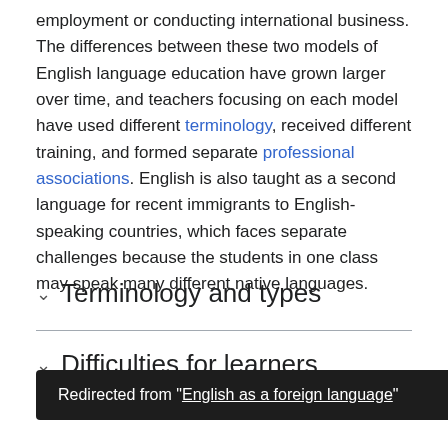employment or conducting international business. The differences between these two models of English language education have grown larger over time, and teachers focusing on each model have used different terminology, received different training, and formed separate professional associations. English is also taught as a second language for recent immigrants to English-speaking countries, which faces separate challenges because the students in one class may speak many different native languages.
Terminology and types
Difficulties for learners
Redirected from "English as a foreign language"